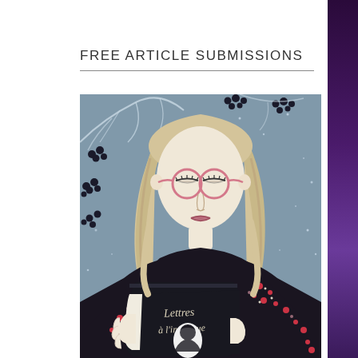FREE ARTICLE SUBMISSIONS
[Figure (illustration): Illustrated artwork of a young woman with blonde hair and round pink glasses, eyes closed, reading a dark book titled 'Lettres à l'inconnue'. She wears a dark floral dress with red and white flowers. Background is blue-grey with white tree branches and dark berries.]